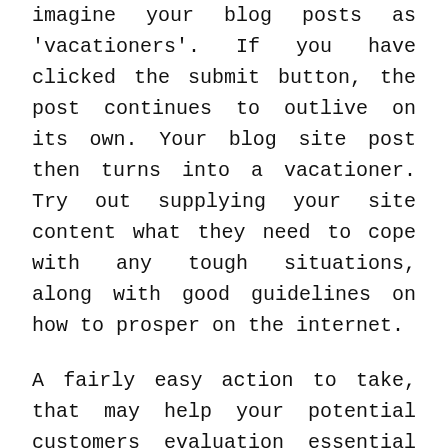imagine your blog posts as 'vacationers'. If you have clicked the submit button, the post continues to outlive on its own. Your blog site post then turns into a vacationer. Try out supplying your site content what they need to cope with any tough situations, along with good guidelines on how to prosper on the internet.
A fairly easy action to take, that may help your potential customers evaluation essential materials inside your blog site, is to include bullet factors. These not only aid your reader in scanning, and often will also breakup your access in to a far more easily readable piece. Create your bullets striking to boost the simplicity of use too.
https://vip-mods.com/user/chinaclub91/ by staying